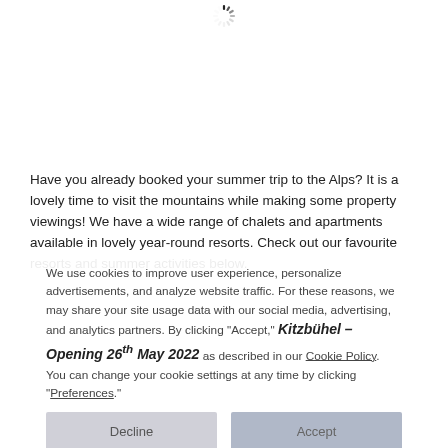[Figure (other): Loading spinner icon at top center of page]
Have you already booked your summer trip to the Alps? It is a lovely time to visit the mountains while making some property viewings! We have a wide range of chalets and apartments available in lovely year-round resorts. Check out our favourite resorts and summer activities below.
We use cookies to improve user experience, personalize advertisements, and analyze website traffic. For these reasons, we may share your site usage data with our social media, advertising, and analytics partners. By clicking "Accept," Kitzbühel – Opening 26th May 2022 as described in our Cookie Policy. You can change your cookie settings at any time by clicking "Preferences."